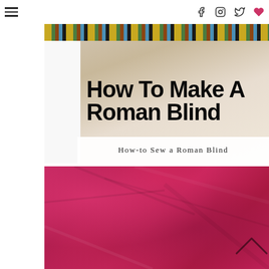Navigation bar with hamburger menu and social icons (Facebook, Instagram, Twitter, Heart/Pinterest)
[Figure (photo): Roman blind sewing tutorial cover image with bold text overlay reading 'How To Make A Roman Blind' and subtitle 'How-to Sew a Roman Blind'. Background shows a window with a patterned roman blind and white curtains.]
How To Make A Roman Blind
How-to Sew a Roman Blind
[Figure (photo): Close-up photograph of pink/magenta dupioni silk or raw silk fabric with natural texture and folds, showing rich deep pink color with subtle sheen and wrinkles.]